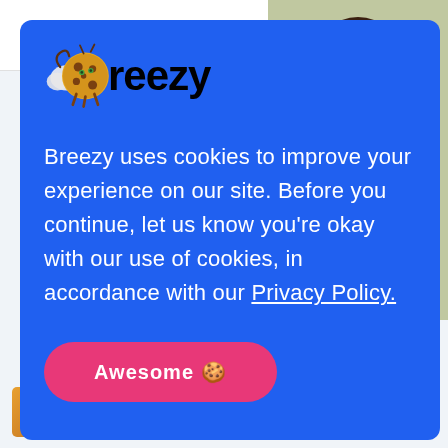[Figure (screenshot): Background website with navigation bar, woman photo on right, partner logos (indeed, recruiter, google), and bottom thumbnails]
[Figure (logo): Breezy cookie consent popup logo with cookie character icon]
Breezy uses cookies to improve your experience on our site. Before you continue, let us know you're okay with our use of cookies, in accordance with our Privacy Policy.
Awesome 🍪